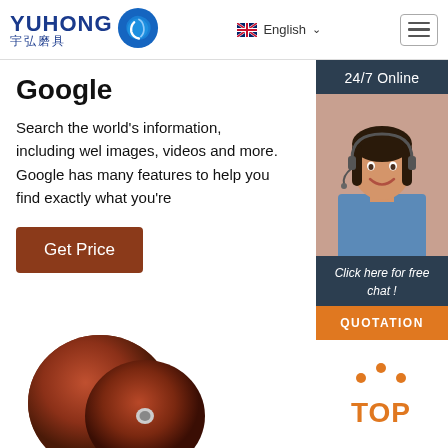[Figure (logo): YUHONG 宇弘磨具 logo with blue wave/shell icon]
English ∨
[Figure (other): Hamburger menu icon]
24/7 Online
[Figure (photo): Customer service woman with headset smiling]
Click here for free chat !
QUOTATION
Google
Search the world's information, including web images, videos and more. Google has many features to help you find exactly what you're
Get Price
[Figure (photo): Two brown abrasive/grinding discs]
[Figure (other): TOP button with orange dots forming arch above the word TOP in orange]